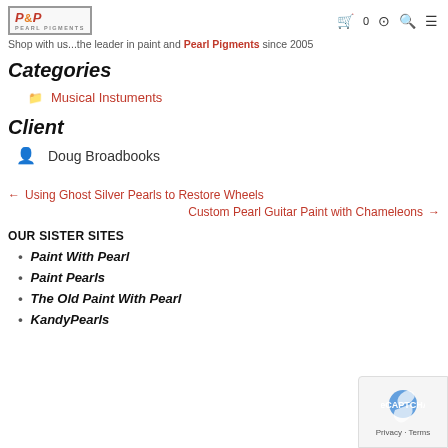P&P Pigments logo with navigation icons (cart 0, account, search, menu)
Shop with us...the leader in paint and Pearl Pigments since 2005
Categories
Musical Instuments
Client
Doug Broadbooks
← Using Ghost Silver Pearls to Restore Wheels
Custom Pearl Guitar Paint with Chameleons →
OUR SISTER SITES
Paint With Pearl
Paint Pearls
The Old Paint With Pearl
KandyPearls